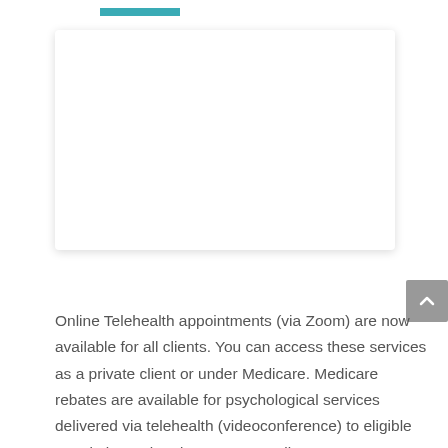[Figure (photo): White rectangular image placeholder box with shadow, likely a photo or video thumbnail related to telehealth services]
Online Telehealth appointments (via Zoom) are now available for all clients. You can access these services as a private client or under Medicare. Medicare rebates are available for psychological services delivered via telehealth (videoconference) to eligible people in rural and remote Australia or